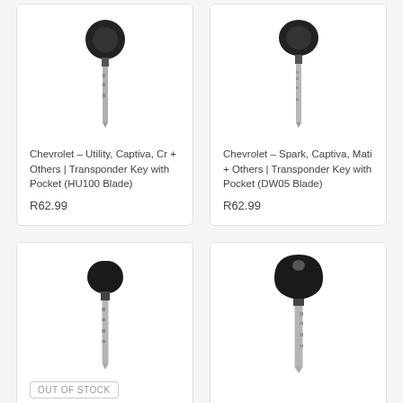[Figure (photo): Transponder key with HU100 blade, black plastic head, silver metal blade pointing downward]
Chevrolet – Utility, Captiva, Cr + Others | Transponder Key with Pocket (HU100 Blade)
R62.99
[Figure (photo): Transponder key with DW05 blade, black plastic head, silver metal blade pointing downward]
Chevrolet – Spark, Captiva, Mati + Others | Transponder Key with Pocket (DW05 Blade)
R62.99
[Figure (photo): Transponder key with rounded black plastic head, silver metal blade, out of stock]
OUT OF STOCK
[Figure (photo): Transponder key with teardrop-shaped black plastic head, silver metal blade]